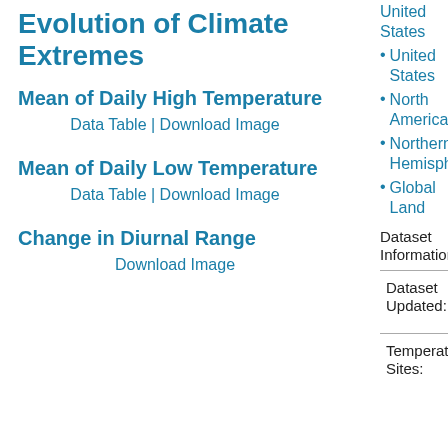Evolution of Climate Extremes
Mean of Daily High Temperature
Data Table | Download Image
Mean of Daily Low Temperature
Data Table | Download Image
Change in Diurnal Range
Download Image
United States
United States
North America
Northern Hemisphere
Global Land
Dataset Information
Dataset Updated:
Temperature Sites: